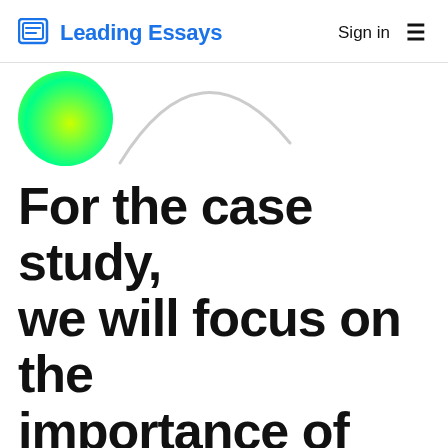Leading Essays  Sign in ≡
[Figure (illustration): A yellow-green gradient circle on the left, and a light gray arc/curve shape to its right, used as decorative elements.]
For the case study, we will focus on the importance of safety and all parties helping to make